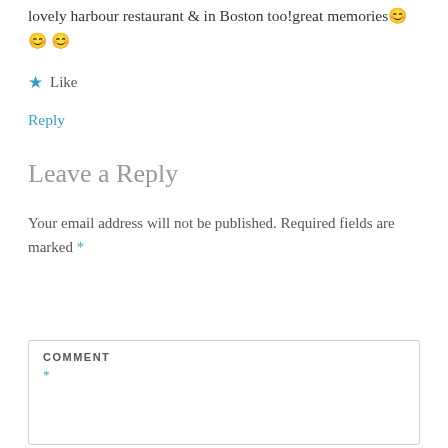lovely harbour restaurant & in Boston too!great memories 😊😊😊
★ Like
Reply
Leave a Reply
Your email address will not be published. Required fields are marked *
COMMENT *